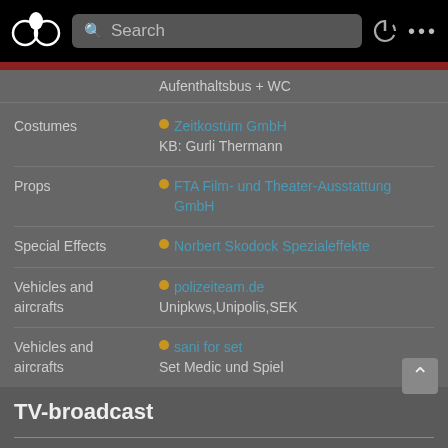[Figure (screenshot): App navigation bar with logo, search box, power icon and dots menu on black background]
Aufenthaltsbus + WC
Costumes
Zeitkostüm GmbH
KB: Gurli Thermann
Props
FTA Film- und Theater-Ausstattung GmbH
Special Effects
Norbert Skodock Spezialeffekte
Vehicles and aircrafts
polizeiteam.de
Unipkws,Unipolis,SEK
Vehicles and aircrafts
sani for set
Set Medic und Spiel
TV-broadcast
| Country | Station | Date / Time |
| --- | --- | --- |
| Germany | ARD [de] | Tuesday, 21/02/2012 |
Links